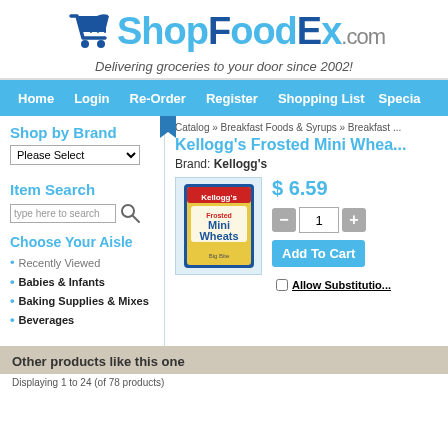[Figure (logo): ShopFoodEx.com logo with shopping cart icon, blue and dark blue colors]
Delivering groceries to your door since 2002!
Home   Login   Re-Order   Register   Shopping List   Special
Shop by Brand
Please Select
Item Search
type here to search
Choose Your Aisle
Recently Viewed
Babies & Infants
Baking Supplies & Mixes
Beverages
Catalog » Breakfast Foods & Syrups » Breakfast ...
Kellogg's Frosted Mini Whea...
Brand: Kellogg's
[Figure (photo): Kellogg's Frosted Mini Wheats cereal box]
$ 6.59
Add To Cart
Allow Substitutio...
Other products like this one
Displaying 1 to 24 (of 78 products)